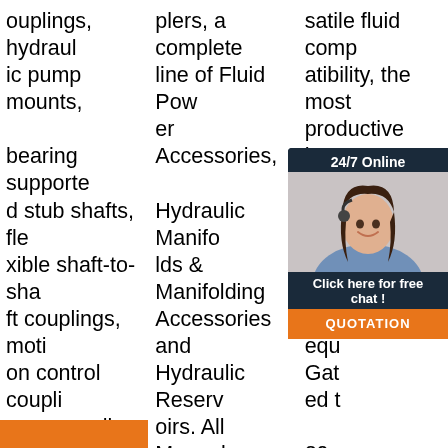ouplings, hydraulic pump mounts, bearing supported stub shafts, flexible shaft-to-shaft couplings, motion control couplings as well as compression pipe couplings. Durable Guardian products are utilized in key industries including mobile hydraulics,
plers, a complete line of Fluid Power Accessories, Hydraulic Manifolds & Manifolding Accessories and Hydraulic Reservoirs. All Magnaloy's products offer superior quality in material and workmanship.
[Figure (other): Get Price orange button]
satile fluid compatibility, the most productive hose systems through the most efficient hose accessories, equipment from Gates, and Gates … 20 international standards, and quality certifications, Gates …
[Figure (other): 24/7 Online chat widget with woman wearing headset, 'Click here for free chat!' text, and QUOTATION orange button]